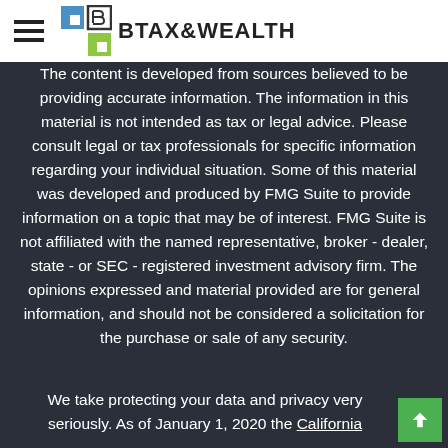B TAX&WEALTH
The content is developed from sources believed to be providing accurate information. The information in this material is not intended as tax or legal advice. Please consult legal or tax professionals for specific information regarding your individual situation. Some of this material was developed and produced by FMG Suite to provide information on a topic that may be of interest. FMG Suite is not affiliated with the named representative, broker - dealer, state - or SEC - registered investment advisory firm. The opinions expressed and material provided are for general information, and should not be considered a solicitation for the purchase or sale of any security.
We take protecting your data and privacy very seriously. As of January 1, 2020 the California